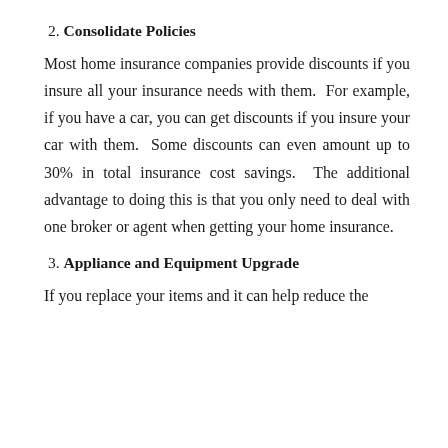2. Consolidate Policies
Most home insurance companies provide discounts if you insure all your insurance needs with them.  For example, if you have a car, you can get discounts if you insure your car with them.  Some discounts can even amount up to 30% in total insurance cost savings.  The additional advantage to doing this is that you only need to deal with one broker or agent when getting your home insurance.
3. Appliance and Equipment Upgrade
If you replace your items and it can help reduce the